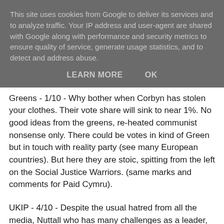This site uses cookies from Google to deliver its services and to analyze traffic. Your IP address and user-agent are shared with Google along with performance and security metrics to ensure quality of service, generate usage statistics, and to detect and address abuse.
LEARN MORE   OK
Greens - 1/10 - Why bother when Corbyn has stolen your clothes. Their vote share will sink to near 1%. No good ideas from the greens, re-heated communist nonsense only. There could be votes in kind of Green but in touch with reality party (see many European countries). But here they are stoic, spitting from the left on the Social Justice Warriors. (same marks and comments for Paid Cymru).
UKIP - 4/10 - Despite the usual hatred from all the media, Nuttall who has many challenges as a leader, has at least spoken about the causes of terrorism and has some more active ideas about what we should do about it. With Brexit UKIP don't have a long-term survival chance, but given this